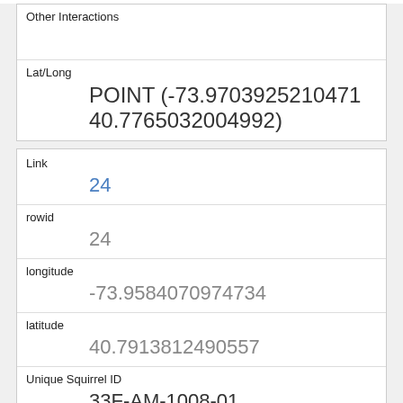| Field | Value |
| --- | --- |
| Other Interactions |  |
| Lat/Long | POINT (-73.9703925210471 40.7765032004992) |
| Field | Value |
| --- | --- |
| Link | 24 |
| rowid | 24 |
| longitude | -73.9584070974734 |
| latitude | 40.7913812490557 |
| Unique Squirrel ID | 33F-AM-1008-01 |
| Hectare | 33F |
| Shift | AM |
| Date |  |